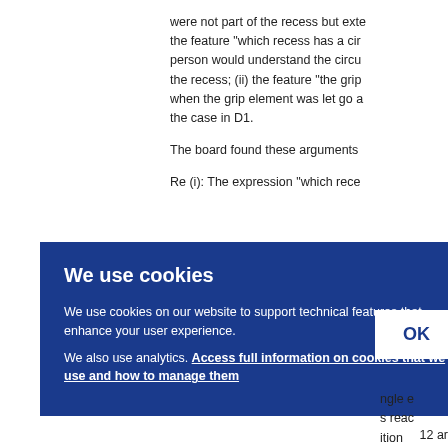were not part of the recess but exte the feature "which recess has a cir person would understand the circu the recess; (ii) the feature "the grip when the grip element was let go a the case in D1.
The board found these arguments
Re (i): The expression "which rece
al sup ible t to the
ngle e s reac ition
12 ar